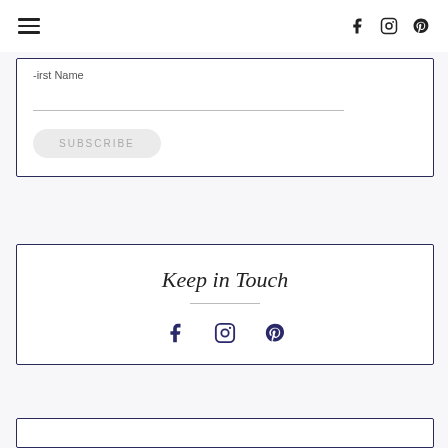Navigation bar with hamburger menu and social icons (Facebook, Instagram, Pinterest)
-irst Name
SUBSCRIBE
Keep in Touch
[Figure (other): Social media icons: Facebook, Instagram, Pinterest in dark navy blue]